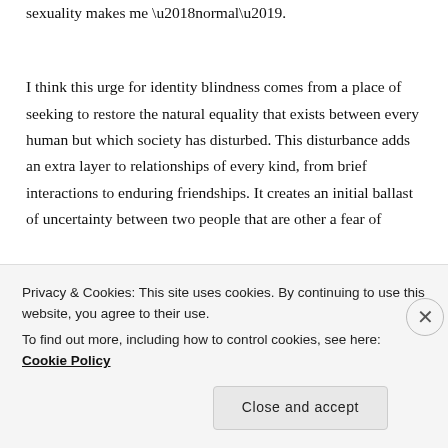sexuality makes me ‘normal’.
I think this urge for identity blindness comes from a place of seeking to restore the natural equality that exists between every human but which society has disturbed. This disturbance adds an extra layer to relationships of every kind, from brief interactions to enduring friendships. It creates an initial ballast of uncertainty between two people that are other a fear of
Privacy & Cookies: This site uses cookies. By continuing to use this website, you agree to their use.
To find out more, including how to control cookies, see here: Cookie Policy
Close and accept